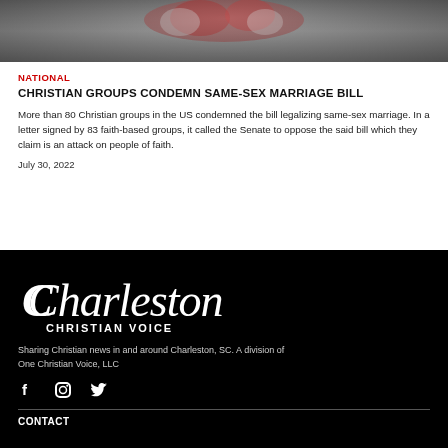[Figure (photo): Top portion of a wedding photo showing flowers and wedding attire]
NATIONAL
CHRISTIAN GROUPS CONDEMN SAME-SEX MARRIAGE BILL
More than 80 Christian groups in the US condemned the bill legalizing same-sex marriage. In a letter signed by 83 faith-based groups, it called the Senate to oppose the said bill which they claim is an attack on people of faith.
July 30, 2022
[Figure (logo): Charleston Christian Voice logo in cursive and uppercase text on black background]
Sharing Christian news in and around Charleston, SC. A division of One Christian Voice, LLC
Social icons: Facebook, Instagram, Twitter
CONTACT